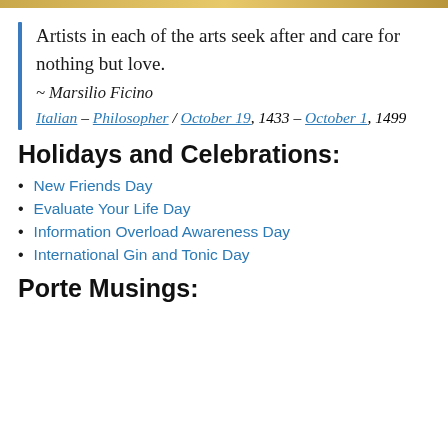Artists in each of the arts seek after and care for nothing but love.
~ Marsilio Ficino
Italian – Philosopher / October 19, 1433 – October 1, 1499
Holidays and Celebrations:
New Friends Day
Evaluate Your Life Day
Information Overload Awareness Day
International Gin and Tonic Day
Porte Musings: